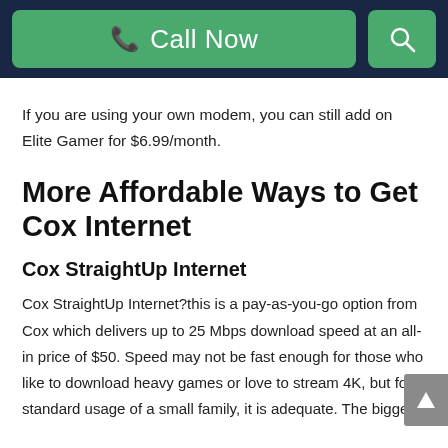Call Now
If you are using your own modem, you can still add on Elite Gamer for $6.99/month.
More Affordable Ways to Get Cox Internet
Cox StraightUp Internet
Cox StraightUp Internet?this is a pay-as-you-go option from Cox which delivers up to 25 Mbps download speed at an all-in price of $50. Speed may not be fast enough for those who like to download heavy games or love to stream 4K, but for standard usage of a small family, it is adequate. The biggest